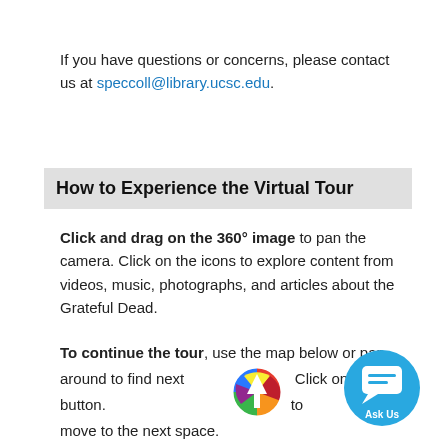If you have questions or concerns, please contact us at speccoll@library.ucsc.edu.
How to Experience the Virtual Tour
Click and drag on the 360° image to pan the camera. Click on the icons to explore content from videos, music, photographs, and articles about the Grateful Dead.
To continue the tour, use the map below or pan around to find next button. [rainbow arrow icon] Click on the icon to move to the next space.
[Figure (illustration): Blue circular 'Ask Us' chat button with a speech bubble icon]